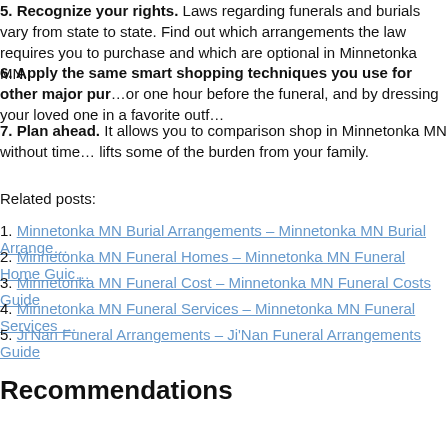5. Recognize your rights. Laws regarding funerals and burials vary from state to state. Find out which arrangements the law requires you to purchase and which are optional in Minnetonka MN.
6. Apply the same smart shopping techniques you use for other major purchases. You can save money by visiting or one hour before the funeral, and by dressing your loved one in a favorite outfit purchased elsewhere.
7. Plan ahead. It allows you to comparison shop in Minnetonka MN without time constraints, and lifts some of the burden from your family.
Related posts:
Minnetonka MN Burial Arrangements – Minnetonka MN Burial Arrangements Guide
Minnetonka MN Funeral Homes – Minnetonka MN Funeral Home Guide
Minnetonka MN Funeral Cost – Minnetonka MN Funeral Costs Guide
Minnetonka MN Funeral Services – Minnetonka MN Funeral Services Guide
Ji'Nan Funeral Arrangements – Ji'Nan Funeral Arrangements Guide
Recommendations